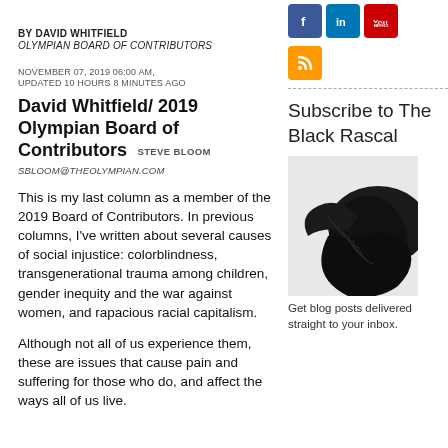BY DAVID WHITFIELD
OLYMPIAN BOARD OF CONTRIBUTORS
NOVEMBER 07, 2019 06:00 AM,
UPDATED 10 HOURS 8 MINUTES AGO
David Whitfield/ 2019 Olympian Board of Contributors STEVE BLOOM SBLOOM@THEOLYMPIAN.COM
This is my last column as a member of the 2019 Board of Contributors. In previous columns, I've written about several causes of social injustice: colorblindness, transgenerational trauma among children, gender inequity and the war against women, and rapacious racial capitalism.
Although not all of us experience them, these are issues that cause pain and suffering for those who do, and affect the ways all of us live.
[Figure (illustration): Social media icons: Facebook (blue), LinkedIn (blue), YouTube (red), and RSS feed (orange)]
Subscribe to The Black Rascal
[Figure (photo): Black raven or crow bird illustration, partial view showing wing and body]
Get blog posts delivered straight to your inbox.